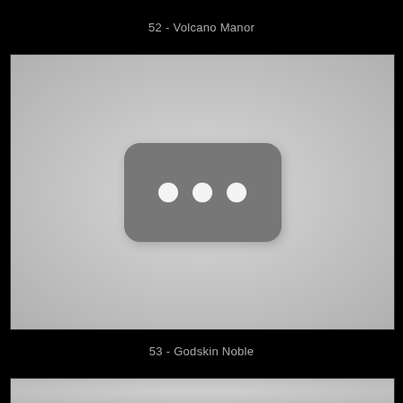52 - Volcano Manor
[Figure (screenshot): YouTube video thumbnail placeholder with gray background and dark rounded rectangle containing three white dots, representing an unloaded video thumbnail]
53 - Godskin Noble
[Figure (screenshot): Partial view of another YouTube video thumbnail placeholder at bottom of page]